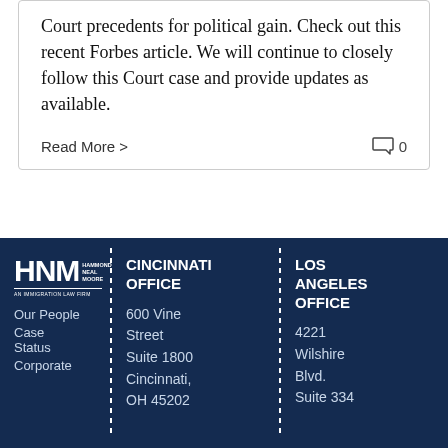Court precedents for political gain. Check out this recent Forbes article. We will continue to closely follow this Court case and provide updates as available.
Read More > 0
[Figure (logo): HNM Hammond Neal Moore - An Immigration Law Firm logo in white on dark blue background]
Our People
Case Status
Corporate
CINCINNATI OFFICE
600 Vine Street
Suite 1800
Cincinnati, OH 45202
LOS ANGELES OFFICE
4221 Wilshire Blvd.
Suite 334